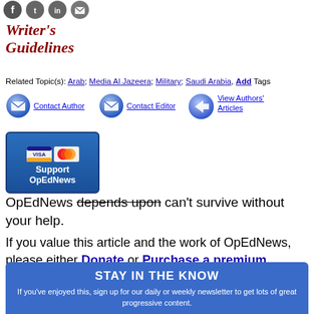[Figure (illustration): Social media share icons row: Facebook, Twitter, LinkedIn, Email]
[Figure (logo): Writer's Guidelines logo in italic dark red serif font]
Related Topic(s): Arab; Media Al Jazeera; Military; Saudi Arabia, Add Tags
[Figure (illustration): Contact Author button with mail icon]
[Figure (illustration): Contact Editor button with mail icon]
[Figure (illustration): View Authors Articles button with arrow icon]
[Figure (illustration): Support OpEdNews button with Visa and MasterCard icons on blue background]
OpEdNews depends upon can't survive without your help.
If you value this article and the work of OpEdNews, please either Donate or Purchase a premium membership.
STAY IN THE KNOW
If you've enjoyed this, sign up for our daily or weekly newsletter to get lots of great progressive content.